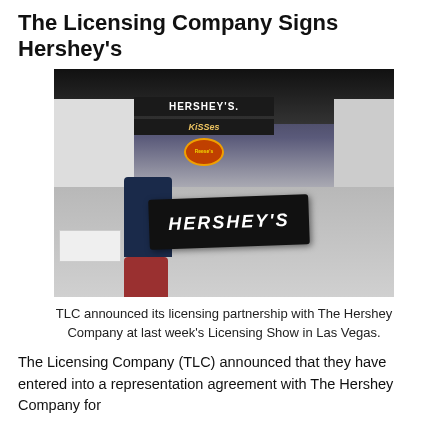The Licensing Company Signs Hershey's
[Figure (photo): Three people standing at a trade show booth holding a large Hershey's branded sign. In the background are booth displays showing Hershey's, Kisses, and Reese's branding. The booth has a purple overhead banner.]
TLC announced its licensing partnership with The Hershey Company at last week's Licensing Show in Las Vegas.
The Licensing Company (TLC) announced that they have entered into a representation agreement with The Hershey Company for